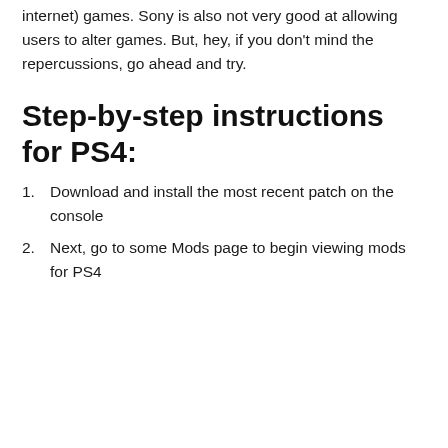internet) games. Sony is also not very good at allowing users to alter games. But, hey, if you don't mind the repercussions, go ahead and try.
Step-by-step instructions for PS4:
Download and install the most recent patch on the console
Next, go to some Mods page to begin viewing mods for PS4